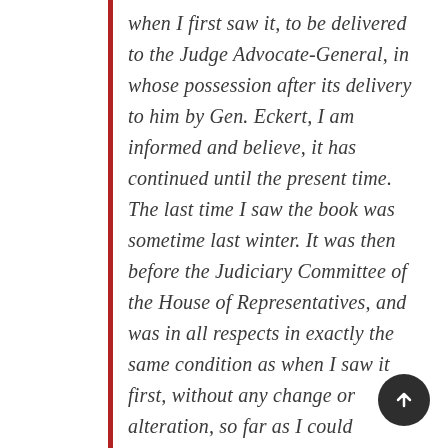when I first saw it, to be delivered to the Judge Advocate-General, in whose possession after its delivery to him by Gen. Eckert, I am informed and believe, it has continued until the present time. The last time I saw the book was sometime last winter. It was then before the Judiciary Committee of the House of Representatives, and was in all respects in exactly the same condition as when I saw it first, without any change or alteration, so far as I could discover, in its contents. Gen. Eckert reported to me that upon receiving the